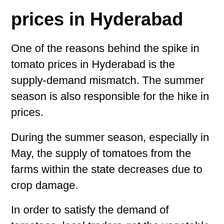prices in Hyderabad
One of the reasons behind the spike in tomato prices in Hyderabad is the supply-demand mismatch. The summer season is also responsible for the hike in prices.
During the summer season, especially in May, the supply of tomatoes from the farms within the state decreases due to crop damage.
In order to satisfy the demand of tomatoes, local traders get the vegetable from Karnataka and other states. However, due to the rise in fuel prices, the traders are forced to increase the prices to pass on the expenses.